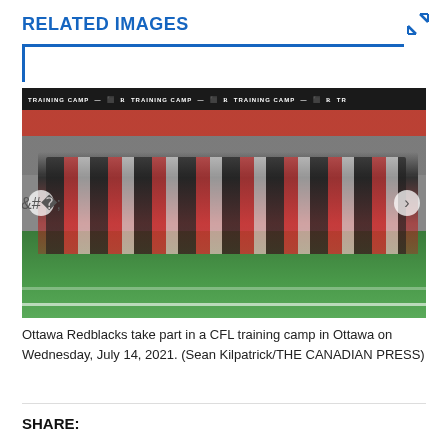RELATED IMAGES
[Figure (photo): Ottawa Redblacks players taking part in a CFL training camp on a football field inside a stadium with red and grey seats visible in the background. Players wear red and white uniforms. A large banner reading TRAINING CAMP is visible along the top of the stands.]
Ottawa Redblacks take part in a CFL training camp in Ottawa on Wednesday, July 14, 2021. (Sean Kilpatrick/THE CANADIAN PRESS)
SHARE: